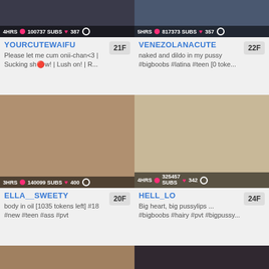[Figure (screenshot): Webcam thumbnail for YOURCUTEWAIFU, 4HRS, 100737 SUBS, 387]
YOURCUTEWAIFU
Please let me cum onii-chan<3 | Sucking show! | Lush on! | R...
21F
[Figure (screenshot): Webcam thumbnail for VENEZOLANACUTE, 5HRS, 817373 SUBS, 357]
VENEZOLANACUTE
naked and dildo in my pussy #bigboobs #latina #teen [0 toke...
22F
[Figure (screenshot): Webcam thumbnail for ELLA__SWEETY, 3HRS, 140099 SUBS, 400]
ELLA__SWEETY
body in oil [1035 tokens left] #18 #new #teen #ass #pvt
20F
[Figure (screenshot): Webcam thumbnail for HELL_LO, 4HRS, 325457 SUBS, 342]
HELL_LO
Big heart, big pussylips ... #bigboobs #hairy #pvt #bigpussy...
24F
[Figure (screenshot): Webcam thumbnail bottom left (partial)]
[Figure (screenshot): Webcam thumbnail bottom right (partial)]